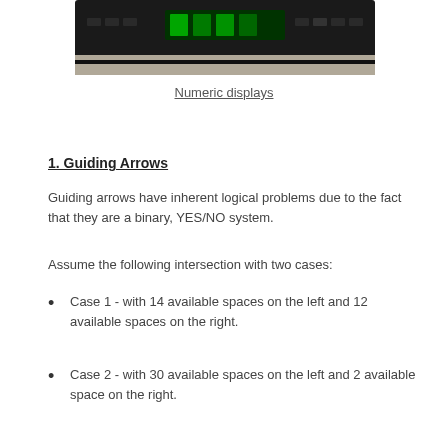[Figure (photo): Photo of a numeric display device (dark electronic panel with green display) resting on a surface.]
Numeric displays
1. Guiding Arrows
Guiding arrows have inherent logical problems due to the fact that they are a binary, YES/NO system.
Assume the following intersection with two cases:
Case 1 - with 14 available spaces on the left and 12 available spaces on the right.
Case 2 - with 30 available spaces on the left and 2 available space on the right.